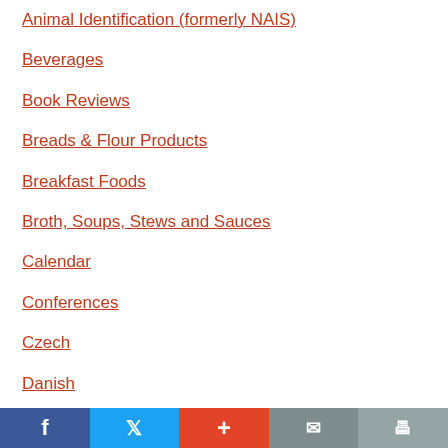Animal Identification (formerly NAIS)
Beverages
Book Reviews
Breads & Flour Products
Breakfast Foods
Broth, Soups, Stews and Sauces
Calendar
Conferences
Czech
Danish